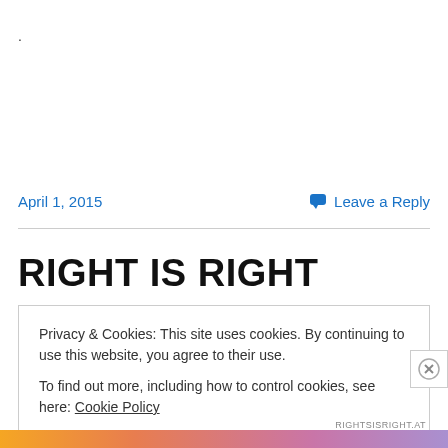.
April 1, 2015
Leave a Reply
RIGHT IS RIGHT
Privacy & Cookies: This site uses cookies. By continuing to use this website, you agree to their use.
To find out more, including how to control cookies, see here: Cookie Policy
Close and accept